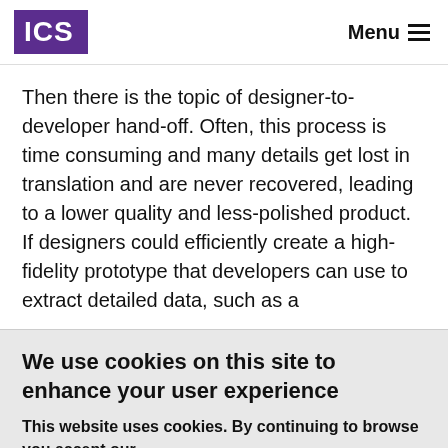ICS  Menu
Then there is the topic of designer-to-developer hand-off. Often, this process is time consuming and many details get lost in translation and are never recovered, leading to a lower quality and less-polished product. If designers could efficiently create a high-fidelity prototype that developers can use to extract detailed data, such as a
We use cookies on this site to enhance your user experience
This website uses cookies. By continuing to browse you accept our cookie policy.
OK, I agree